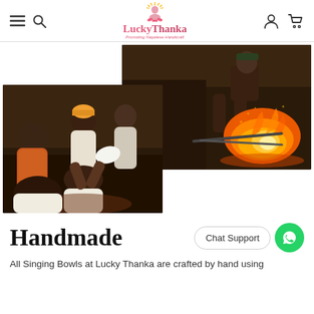Lucky Thanka — Promoting Nepalese Handicraft
[Figure (photo): Two overlapping photos: left photo shows craftsmen sitting in a circle working with their hands in a dimly lit workshop; right photo shows a man tending a large fire/forge.]
Handmade
Chat Support
All Singing Bowls at Lucky Thanka are crafted by hand using